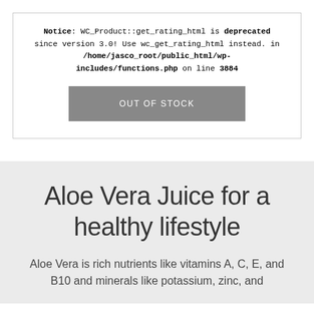Notice: WC_Product::get_rating_html is deprecated since version 3.0! Use wc_get_rating_html instead. in /home/jasco_root/public_html/wp-includes/functions.php on line 3884
OUT OF STOCK
Aloe Vera Juice for a healthy lifestyle
Aloe Vera is rich nutrients like vitamins A, C, E, and B10 and minerals like potassium, zinc, and